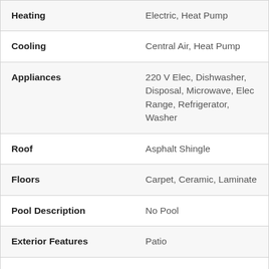| Property Feature | Value |
| --- | --- |
| Heating | Electric, Heat Pump |
| Cooling | Central Air, Heat Pump |
| Appliances | 220 V Elec, Dishwasher, Disposal, Microwave, Elec Range, Refrigerator, Washer |
| Roof | Asphalt Shingle |
| Floors | Carpet, Ceramic, Laminate |
| Pool Description | No Pool |
| Exterior Features | Patio |
| Exterior | Vinyl |
| Waterfront | Not Waterfront |